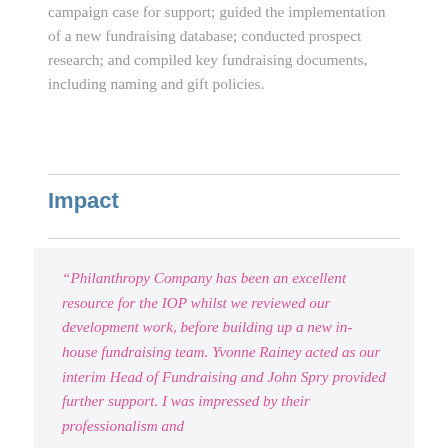campaign case for support; guided the implementation of a new fundraising database; conducted prospect research; and compiled key fundraising documents, including naming and gift policies.
Impact
“Philanthropy Company has been an excellent resource for the IOP whilst we reviewed our development work, before building up a new in-house fundraising team. Yvonne Rainey acted as our interim Head of Fundraising and John Spry provided further support. I was impressed by their professionalism and